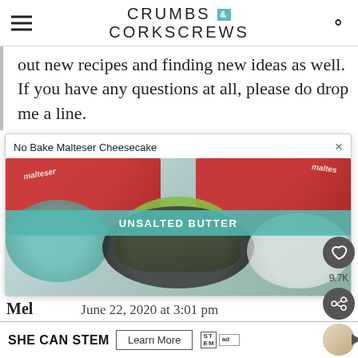CRUMBS & CORKSCREWS
out new recipes and finding new ideas as well. If you have any questions at all, please do drop me a line.
[Figure (screenshot): Popup card showing 'No Bake Malteser Cheesecake' with a photo of Malteser packets, a dark chocolate crumb bowl, a green spoon pouring butter, cream bowl, and a teal banner labeled 'UNSALTED BUTTER'. Close button (×) in top right.]
Mel    June 22, 2020 at 3:01 pm
SHE CAN STEM   Learn More